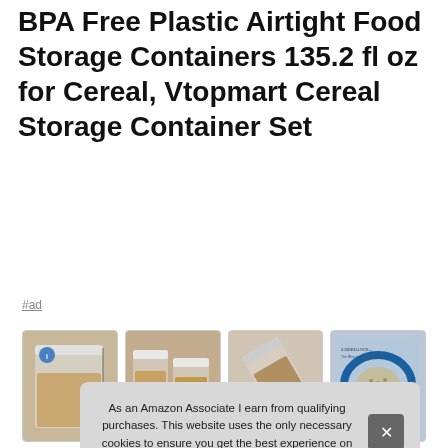BPA Free Plastic Airtight Food Storage Containers 135.2 fl oz for Cereal, Vtopmart Cereal Storage Container Set
#ad
[Figure (photo): Four thumbnail product images of Vtopmart cereal storage containers showing the containers from different angles: full container, hand demonstrating locking lid, pouring contents, and close-up of blue airtight seal.]
As an Amazon Associate I earn from qualifying purchases. This website uses the only necessary cookies to ensure you get the best experience on our website. More information
Vtop
wha
whic
baki
cereal storage containers? The 4 Sided-Locking Lids with